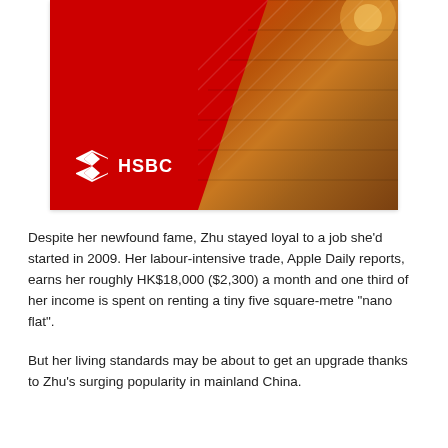[Figure (photo): HSBC advertisement image showing a red background with a diagonal stripe featuring cargo ship containers in golden/orange tones, with the HSBC logo (white hexagon icon and HSBC text) in the lower left.]
Despite her newfound fame, Zhu stayed loyal to a job she'd started in 2009. Her labour-intensive trade, Apple Daily reports, earns her roughly HK$18,000 ($2,300) a month and one third of her income is spent on renting a tiny five square-metre "nano flat".
But her living standards may be about to get an upgrade thanks to Zhu's surging popularity in mainland China.